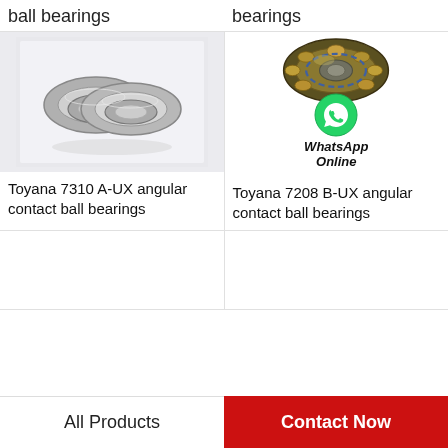ball bearings
bearings
[Figure (photo): Toyana 7310 A-UX angular contact ball bearings - two tapered roller bearing rings on light grey background]
Toyana 7310 A-UX angular contact ball bearings
[Figure (photo): Toyana 7208 B-UX angular contact ball bearings - spherical roller bearing with gold and blue rollers, with WhatsApp Online logo overlay]
Toyana 7208 B-UX angular contact ball bearings
All Products
Contact Now